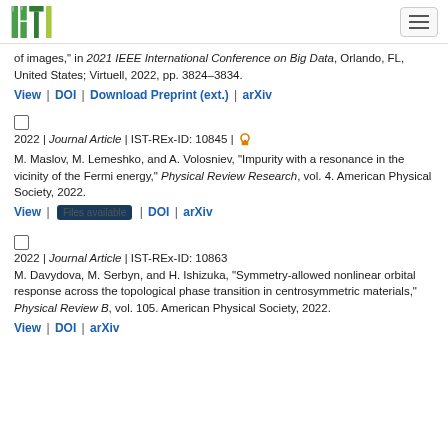ISTA | navigation menu
of images," in 2021 IEEE International Conference on Big Data, Orlando, FL, United States; Virtuell, 2022, pp. 3824–3834.
View | DOI | Download Preprint (ext.) | arXiv
2022 | Journal Article | IST-REx-ID: 10845 | [open access]
M. Maslov, M. Lemeshko, and A. Volosniev, "Impurity with a resonance in the vicinity of the Fermi energy," Physical Review Research, vol. 4. American Physical Society, 2022.
View | Files available | DOI | arXiv
2022 | Journal Article | IST-REx-ID: 10863
M. Davydova, M. Serbyn, and H. Ishizuka, "Symmetry-allowed nonlinear orbital response across the topological phase transition in centrosymmetric materials," Physical Review B, vol. 105. American Physical Society, 2022.
View | DOI | arXiv